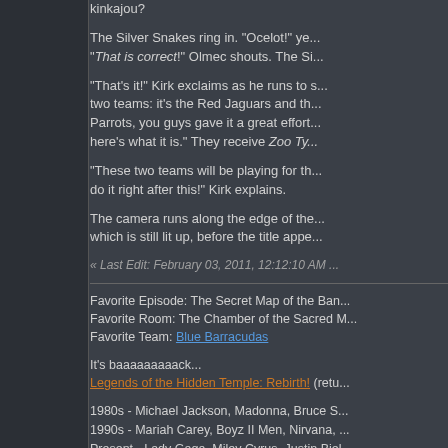kinkajou?
The Silver Snakes ring in. "Ocelot!" ye... "That is correct!" Olmec shouts. The Si...
"That's it!" Kirk exclaims as he runs to s... two teams: it's the Red Jaguars and th... Parrots, you guys gave it a great effort... here's what it is." They receive Zoo Ty...
"These two teams will be playing for th... do it right after this!" Kirk explains.
The camera runs along the edge of the... which is still lit up, before the title appe...
« Last Edit: February 03, 2011, 12:12:10 AM...
Favorite Episode: The Secret Map of the Ban...
Favorite Room: The Chamber of the Sacred M...
Favorite Team: Blue Barracudas
It's baaaaaaaaack...
Legends of the Hidden Temple: Rebirth! (retu...
1980s - Michael Jackson, Madonna, Bruce S...
1990s - Mariah Carey, Boyz II Men, Nirvana,...
Present - Lady Gaga, Miley Cyrus, Justin Biel...
You do the math.